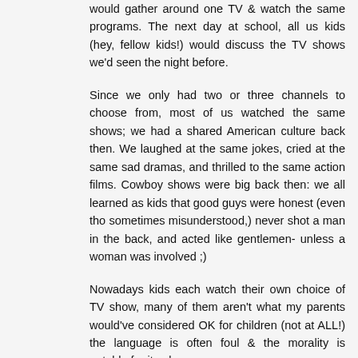would gather around one TV & watch the same programs. The next day at school, all us kids (hey, fellow kids!) would discuss the TV shows we'd seen the night before.
Since we only had two or three channels to choose from, most of us watched the same shows; we had a shared American culture back then. We laughed at the same jokes, cried at the same sad dramas, and thrilled to the same action films. Cowboy shows were big back then: we all learned as kids that good guys were honest (even tho sometimes misunderstood,) never shot a man in the back, and acted like gentlemen- unless a woman was involved ;)
Nowadays kids each watch their own choice of TV show, many of them aren't what my parents would've considered OK for children (not at ALL!) the language is often foul & the morality is notable for its absence.